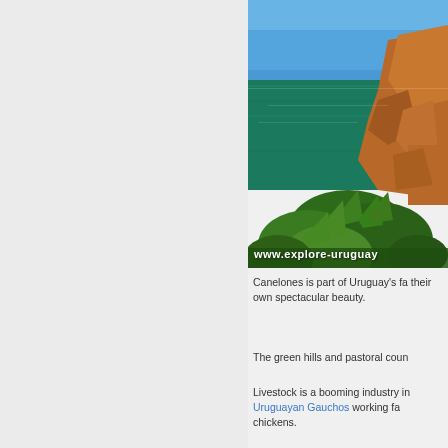[Figure (photo): Aerial/elevated view of a rocky coastline with vivid turquoise and blue water, orange-brown rocks, and lush green tropical vegetation in the foreground. Watermark reads www.explore-uruguay]
Canelones is part of Uruguay's fa their own spectacular beauty.
The green hills and pastoral coun
Livestock is a booming industry in Uruguayan Gauchos working fa chickens.